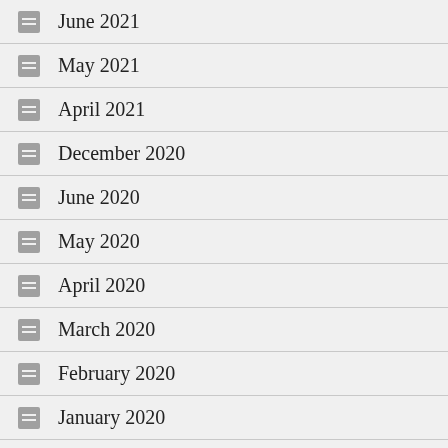June 2021
May 2021
April 2021
December 2020
June 2020
May 2020
April 2020
March 2020
February 2020
January 2020